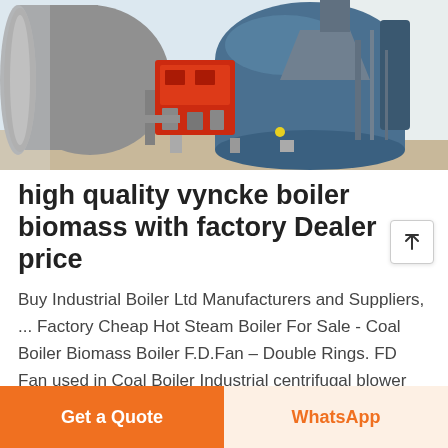[Figure (photo): Industrial biomass/coal boiler system with red burner component, blue cylindrical tank, and feed hopper in an industrial facility.]
high quality vyncke boiler biomass with factory Dealer price
Buy Industrial Boiler Ltd Manufacturers and Suppliers, ... Factory Cheap Hot Steam Boiler For Sale - Coal Boiler Biomass Boiler F.D.Fan – Double Rings. FD Fan used in Coal Boiler Industrial centrifugal blower fan is used for steam boilers, which has good quality
Get a Quote  WhatsApp